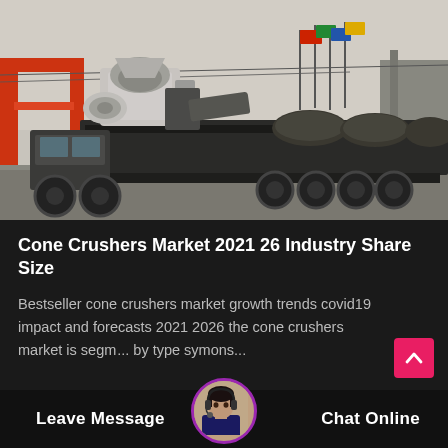[Figure (photo): A large industrial cone crusher machine loaded on a flatbed truck, seen in an industrial yard. A red gantry crane is visible on the left. Several colorful flags are visible in the background against a hazy sky.]
Cone Crushers Market 2021 26 Industry Share Size
Bestseller cone crushers market growth trends covid19 impact and forecasts 2021 2026 the cone crushers market is segm... by type symons...
Leave Message   Chat Online